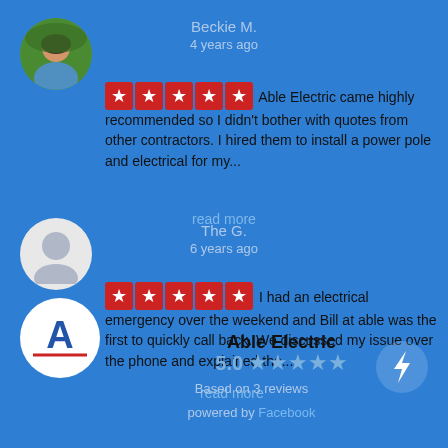Beckie M.
4 years ago
Able Electric came highly recommended so I didn't bother with quotes from other contractors. I hired them to install a power pole and electrical for my... read more
The G.
6 years ago
I had an electrical emergency over the weekend and Bill at able was the first to quickly call back. We discussed my issue over the phone and explained the... read more
Able Electric
5.0 ★★★★★
Based on 3 reviews
powered by Facebook